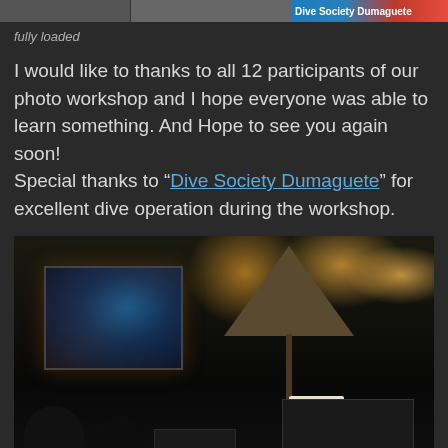[Figure (photo): Top strip/banner image partially visible at top of page, showing colorful graphic with red and blue elements]
fully loaded
I would like to thanks to all 12 participants of our photo workshop and I hope everyone was able to learn something. And Hope to see you again soon!
Special thanks to “Dive Society Dumaguete” for excellent dive operation during the workshop.
[Figure (photo): Nighttime outdoor scene showing a photo workshop presentation. A projection screen on the left shows an underwater marine life image (appears to be a lionfish or similar colorful fish). A thatched hut/umbrella structure is visible in the center-right. People are seated in the foreground watching the presentation. A laptop is visible on a table.]